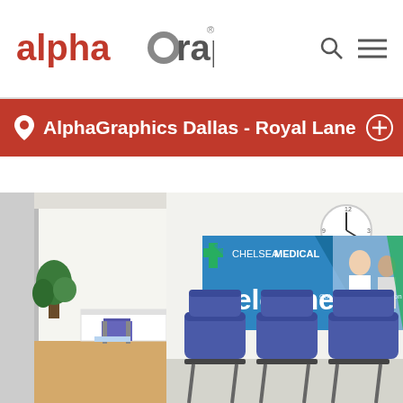[Figure (logo): AlphaGraphics logo with red text and grey circle forming the letter G]
AlphaGraphics Dallas - Royal Lane
[Figure (photo): Medical office waiting room with three blue chairs and a Chelsea Medical welcome banner on the wall]